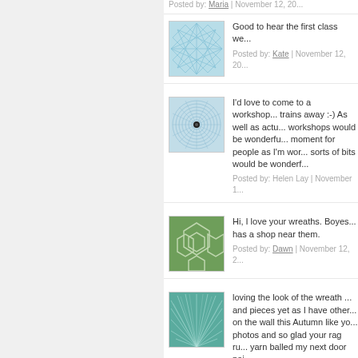Posted by: Maria | November 12, 20...
[Figure (illustration): Blue geometric web/network pattern avatar image]
Good to hear the first class we...
Posted by: Kate | November 12, 20...
[Figure (illustration): Blue circular spiral/mandala pattern avatar image]
I'd love to come to a workshop... trains away :-) As well as actu... workshops would be wonderfu... moment for people as I'm wor... sorts of bits would be wonderf...
Posted by: Helen Lay | November 1...
[Figure (illustration): Green geometric cell/honeycomb pattern avatar image]
Hi, I love your wreaths. Boyes... has a shop near them.
Posted by: Dawn | November 12, 2...
[Figure (illustration): Teal/green radiating lines pattern avatar image]
loving the look of the wreath ... and pieces yet as I have other... on the wall this Autumn like yo... photos and so glad your rag ru... yarn balled my next door nei...